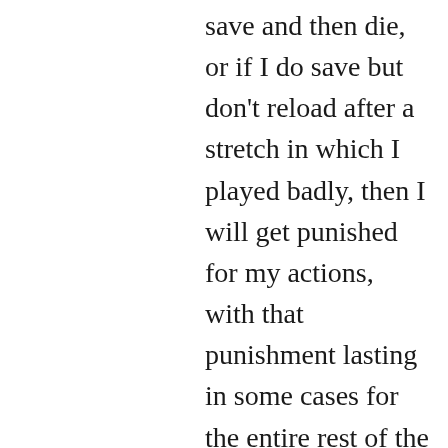save and then die, or if I do save but don't reload after a stretch in which I played badly, then I will get punished for my actions, with that punishment lasting in some cases for the entire rest of the game. In other words: if I play badly (or even less than perfectly), the game will reduce my enjoyment of the game for hours to come.
This is a lousy way to treat players. If the game really is about challenging the player's skills, then of course you want bad play to have consequences: such a game